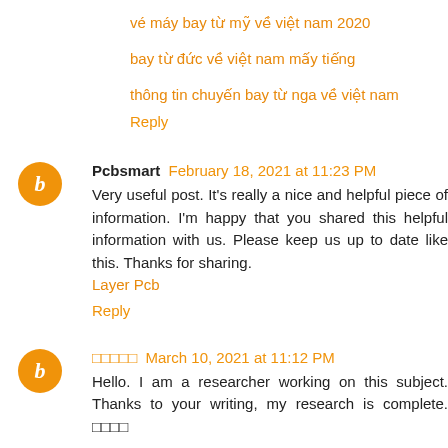vé máy bay từ mỹ về việt nam 2020
bay từ đức về việt nam mấy tiếng
thông tin chuyến bay từ nga về việt nam
Reply
Pcbsmart February 18, 2021 at 11:23 PM
Very useful post. It's really a nice and helpful piece of information. I'm happy that you shared this helpful information with us. Please keep us up to date like this. Thanks for sharing.
Layer Pcb
Reply
□□□□□ March 10, 2021 at 11:12 PM
Hello. I am a researcher working on this subject. Thanks to your writing, my research is complete. □□□□